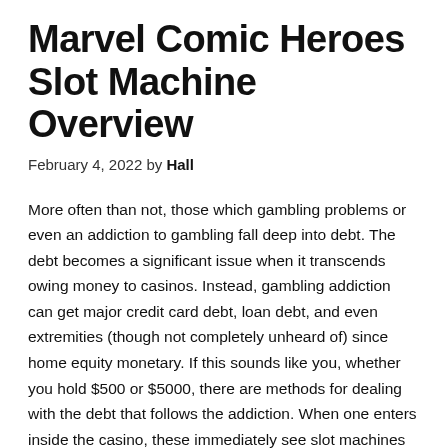Marvel Comic Heroes Slot Machine Overview
February 4, 2022 by Hall
More often than not, those which gambling problems or even an addiction to gambling fall deep into debt. The debt becomes a significant issue when it transcends owing money to casinos. Instead, gambling addiction can get major credit card debt, loan debt, and even extremities (though not completely unheard of) since home equity monetary. If this sounds like you, whether you hold $500 or $5000, there are methods for dealing with the debt that follows the addiction. When one enters inside the casino, these immediately see slot machines located globe entrances. Slots are very attractive as an its flashy lights and welcoming sounds. These are placed in casino entrances so people today will be enticed to